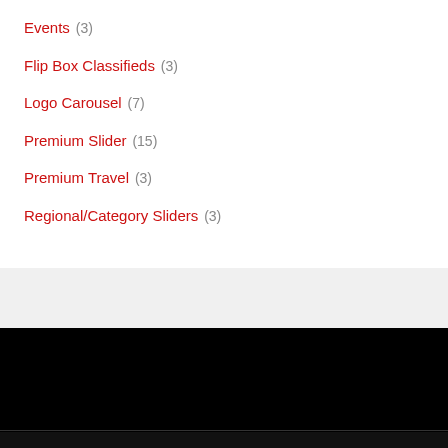Events (3)
Flip Box Classifieds (3)
Logo Carousel (7)
Premium Slider (15)
Premium Travel (3)
Regional/Category Sliders (3)